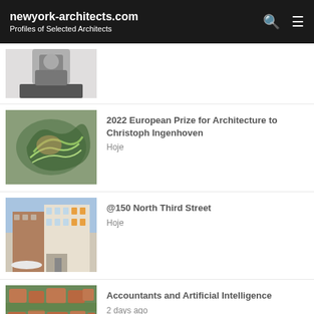newyork-architects.com — Profiles of Selected Architects
[Figure (photo): Man in dark suit seated on a modern chair, cropped at mid-body level]
[Figure (photo): Aerial view of an organic-shaped building with green landscaping and winding paths]
2022 European Prize for Architecture to Christoph Ingenhoven
Hoje
[Figure (photo): Modern multi-story residential building with orange and white facade panels, street view]
@150 North Third Street
Hoje
[Figure (photo): Aerial satellite view of a neighborhood with terracotta-roofed buildings and green trees]
Accountants and Artificial Intelligence
2 days ago